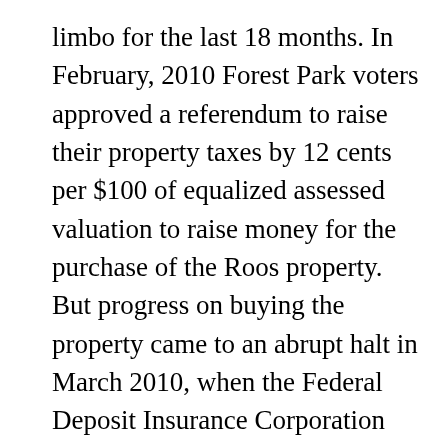limbo for the last 18 months. In February, 2010 Forest Park voters approved a referendum to raise their property taxes by 12 cents per $100 of equalized assessed valuation to raise money for the purchase of the Roos property.  But progress on buying the property came to an abrupt halt in March 2010, when the Federal Deposit Insurance Corporation (FDIC) shut down Rockford based Amcore Bank and transferred its assets, including the mortgage on the Roos property, to Harris Bank.